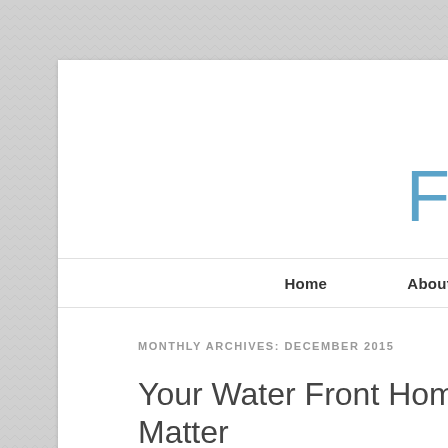Fishi
Home   About Me
MONTHLY ARCHIVES: DECEMBER 2015
Your Water Front Home Interior De... Matter
POSTED ON DECEMBER 21, 2015